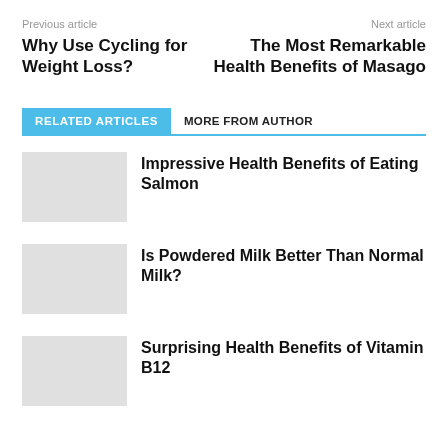Previous article
Next article
Why Use Cycling for Weight Loss?
The Most Remarkable Health Benefits of Masago
RELATED ARTICLES
MORE FROM AUTHOR
Impressive Health Benefits of Eating Salmon
Is Powdered Milk Better Than Normal Milk?
Surprising Health Benefits of Vitamin B12